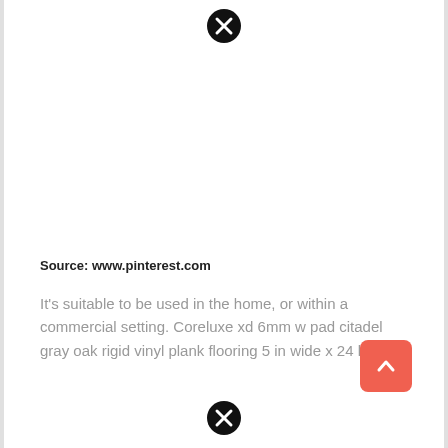[Figure (other): Close/dismiss button icon (black circle with white X) at top center]
Source: www.pinterest.com
It's suitable to be used in the home, or within a commercial setting. Coreluxe xd 6mm w pad citadel gray oak rigid vinyl plank flooring 5 in wide x 24 long ll.
[Figure (other): Scroll-to-top button (salmon/orange-red rounded square with white upward arrow)]
[Figure (other): Close/dismiss button icon (black circle with white X) at bottom center]